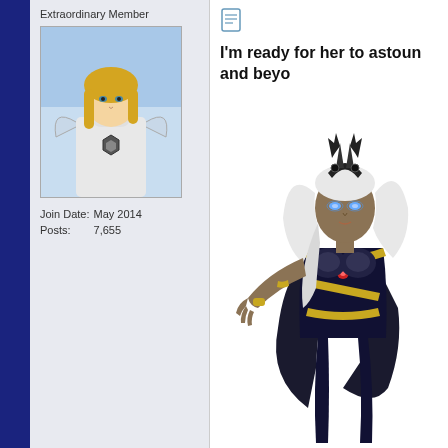Extraordinary Member
[Figure (illustration): Comic book style avatar of a blonde female character in white armor suit]
Join Date: May 2014
Posts: 7,655
[Figure (other): Document/note icon]
I'm ready for her to astound and beyond
[Figure (illustration): Digital art illustration of Storm character in black and gold costume with white hair and glowing blue eyes]